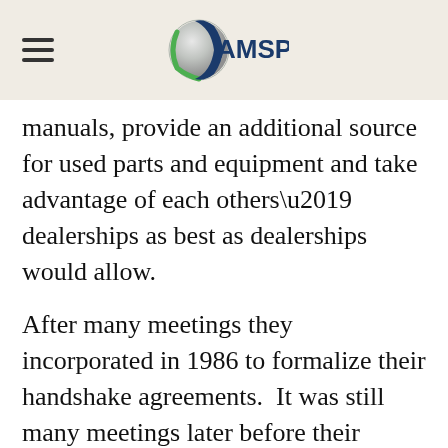AMSP
manuals, provide an additional source for used parts and equipment and take advantage of each others’ dealerships as best as dealerships would allow.
After many meetings they incorporated in 1986 to formalize their handshake agreements.  It was still many meetings later before their bylaws were solidified, thanks in large part to Chris Schaefer, Deccaid Services, who authored the first bylaws.  Ernie Pisciotti was the first